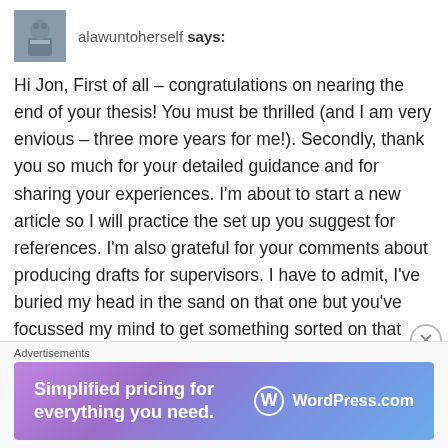alawuntoherself says:
Hi Jon, First of all – congratulations on nearing the end of your thesis! You must be thrilled (and I am very envious – three more years for me!). Secondly, thank you so much for your detailed guidance and for sharing your experiences. I'm about to start a new article so I will practice the set up you suggest for references. I'm also grateful for your comments about producing drafts for supervisors. I have to admit, I've buried my head in the sand on that one but you've focussed my mind to get something sorted on that front. I'll add a note in the main body of the blog post
Advertisements
[Figure (infographic): WordPress.com advertisement banner: 'Simplified pricing for everything you need.' with WordPress.com logo on a purple-blue gradient background]